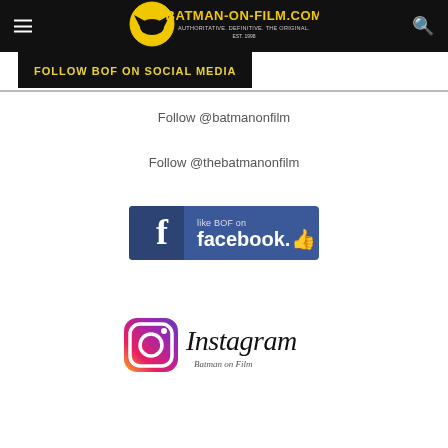BATMAN-ON-FILM.COM — Authoritative. Definitive. The Original. Est. 1998
FOLLOW BOF ON SOCIAL MEDIA
Follow @batmanonfilm
Follow @thebatmanonfilm
[Figure (logo): Like BOF on Facebook button with Facebook logo and thumbs up icon]
[Figure (logo): Instagram logo with text 'Batman on Film']